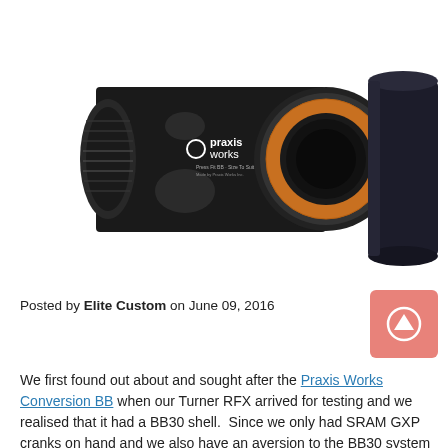[Figure (photo): Praxis Works Conversion BB bottom bracket component — a black cylindrical bottom bracket shell with orange/copper bearing ring visible on the right side, and a separate black plastic cup/sleeve standing upright on the right. The main body is labeled 'praxis works' in white text.]
Posted by Elite Custom on June 09, 2016
We first found out about and sought after the Praxis Works Conversion BB when our Turner RFX arrived for testing and we realised that it had a BB30 shell.  Since we only had SRAM GXP cranks on hand and we also have an aversion to the BB30 system in